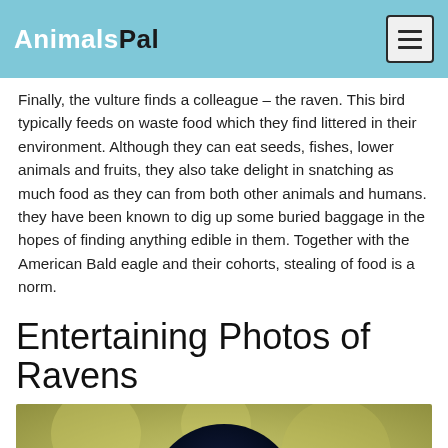AnimalsPal
Finally, the vulture finds a colleague – the raven. This bird typically feeds on waste food which they find littered in their environment. Although they can eat seeds, fishes, lower animals and fruits, they also take delight in snatching as much food as they can from both other animals and humans. they have been known to dig up some buried baggage in the hopes of finding anything edible in them. Together with the American Bald eagle and their cohorts, stealing of food is a norm.
Entertaining Photos of Ravens
[Figure (photo): Close-up photo of a raven bird with dark blue-black plumage, facing the camera directly, with a blurred olive-green background]